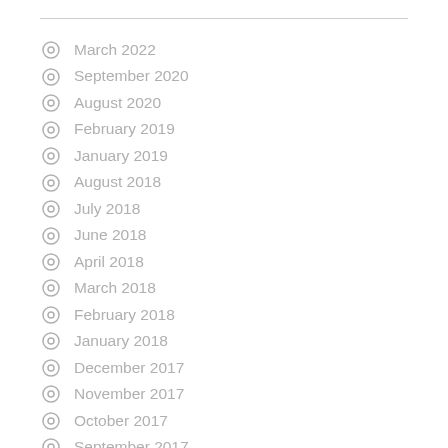March 2022
September 2020
August 2020
February 2019
January 2019
August 2018
July 2018
June 2018
April 2018
March 2018
February 2018
January 2018
December 2017
November 2017
October 2017
September 2017
August 2017
July 2017
June 2017
May 2017